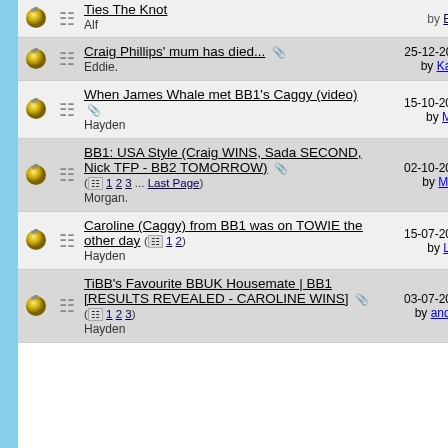|  |  | Thread Title | Last Post | Replies | Views |
| --- | --- | --- | --- | --- | --- |
|  |  | Craig Phillips' mum has died... Eddie. | 25-12-2017 09:30 AM by Kazanne | 5 | 7,2... |
|  |  | When James Whale met BB1's Caggy (video) Hayden | 15-10-2017 08:20 PM by Marsh. | 7 | 6,3... |
|  |  | BB1: USA Style (Craig WINS, Sada SECOND, Nick TFP - BB2 TOMORROW) (1 2 3 ... Last Page) Morgan. | 02-10-2017 06:34 PM by Morgan. | 136 | 23,5... |
|  |  | Caroline (Caggy) from BB1 was on TOWIE the other day (1 2) Hayden | 15-07-2017 01:54 PM by LukeB | 27 | 15,1... |
|  |  | TiBB's Favourite BBUK Housemate | BB1 [RESULTS REVEALED - CAROLINE WINS] (1 2 3) Hayden | 03-07-2017 03:09 PM by andybigbro | 60 | 20,8... |